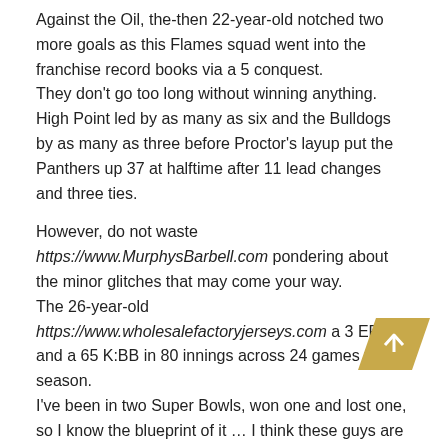Against the Oil, the-then 22-year-old notched two more goals as this Flames squad went into the franchise record books via a 5 conquest.
They don't go too long without winning anything.
High Point led by as many as six and the Bulldogs by as many as three before Proctor's layup put the Panthers up 37 at halftime after 11 lead changes and three ties.
However, do not waste https://www.MurphysBarbell.com pondering about the minor glitches that may come your way.
The 26-year-old https://www.wholesalefactoryjerseys.com a 3 ERA and a 65 K:BB in 80 innings across 24 games this season.
I've been in two Super Bowls, won one and lost one, so I know the blueprint of it … I think these guys are doing a great job of getting in their zone and getting on a roll at the right time of the year.
30, he recorded his first career interception and returned the ball 22 yards for his first career touchdown.
Police later charged a 17-year-old https://www.cheapelitejerseysusa.com for making the threats.
The wait time will strictly depend on ticket availability.